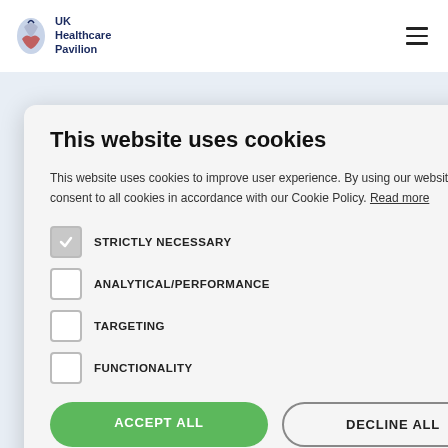[Figure (screenshot): UK Healthcare Pavilion website screenshot with cookie consent modal overlay. Background shows navigation bar with logo and hamburger menu, and partially visible website content with dark blue bold text and light blue smaller text.]
This website uses cookies
This website uses cookies to improve user experience. By using our website you consent to all cookies in accordance with our Cookie Policy. Read more
STRICTLY NECESSARY
ANALYTICAL/PERFORMANCE
TARGETING
FUNCTIONALITY
ACCEPT ALL
DECLINE ALL
SHOW DETAILS
POWERED BY COOKIE-SCRIPT